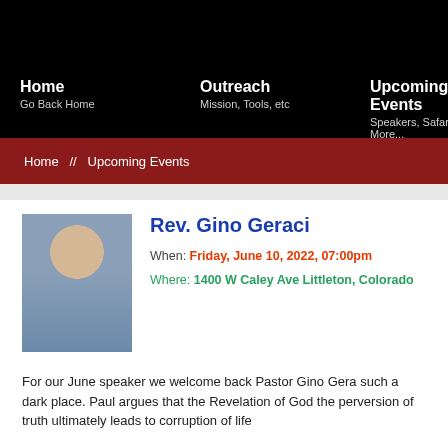Home // Go Back Home   Outreach // Mission, Tools, etc   Upcoming Events // Speakers, Safaris, More...
Home  //  Upcoming Events
[Figure (photo): Headshot photo of Rev. Gino Geraci, a middle-aged man with short gray hair, smiling, in front of bookshelves]
Rev. Gino Geraci
When: Friday, June 10, 2022, 07:00pm
Where: 1400 W Caley Ave Littleton, Colorado
For our June speaker we welcome back Pastor Gino Gera... such a dark place. Paul argues that the Revelation of God... the perversion of truth ultimately leads to corruption of life...